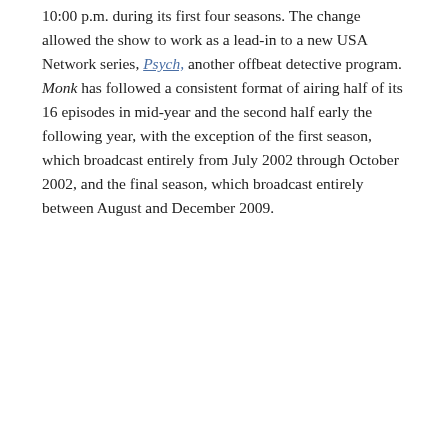10:00 p.m. during its first four seasons. The change allowed the show to work as a lead-in to a new USA Network series, Psych, another offbeat detective program. Monk has followed a consistent format of airing half of its 16 episodes in mid-year and the second half early the following year, with the exception of the first season, which broadcast entirely from July 2002 through October 2002, and the final season, which broadcast entirely between August and December 2009.